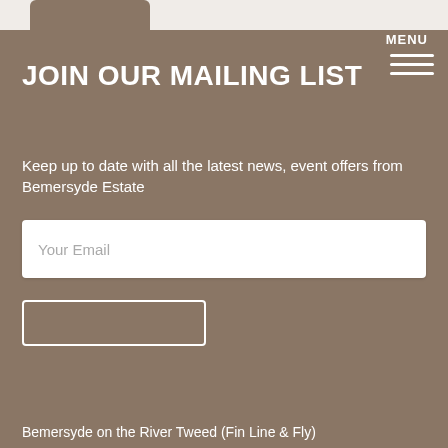MENU
JOIN OUR MAILING LIST
Keep up to date with all the latest news, event offers from Bemersyde Estate
Your Email
This website uses cookies
This website uses cookies to improve user experience. By using our website you consent to all cookies in accordance with our Cookie Policy. Read more
I AGREE
I DISAGREE
Bemersyde on the River Tweed (Fin Line & Fly)